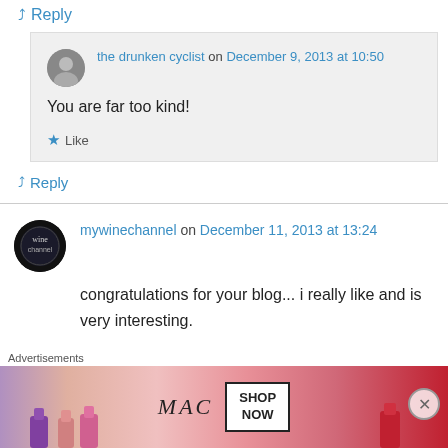↳ Reply
the drunken cyclist on December 9, 2013 at 10:50
You are far too kind!
★ Like
↳ Reply
mywinechannel on December 11, 2013 at 13:24
congratulations for your blog... i really like and is very interesting.
Advertisements
[Figure (photo): MAC cosmetics advertisement showing lipsticks with SHOP NOW button]